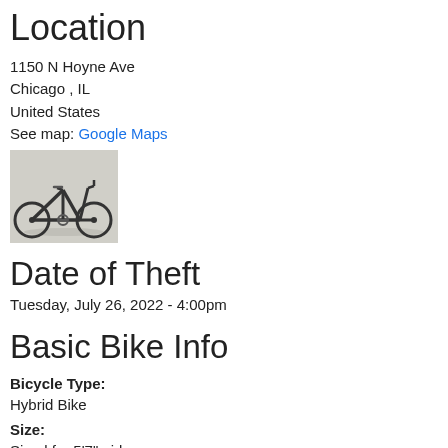Location
1150 N Hoyne Ave
Chicago , IL
United States
See map: Google Maps
[Figure (photo): Photo of a black hybrid bicycle against a light background]
Date of Theft
Tuesday, July 26, 2022 - 4:00pm
Basic Bike Info
Bicycle Type:
Hybrid Bike
Size:
Sized for 5'7" girl
Color:
Black
Condition of Bicycle / Distinguishing Features: